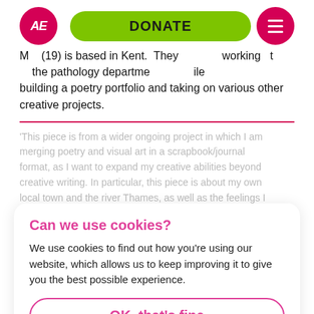M (19) is based in Kent. They working at the pathology department while building a poetry portfolio and taking on various other creative projects.
'This piece is from a wider ongoing project in which I am merging poetry and visual art in a scrapbook/journal format, as I want to expand my creative abilities beyond creative writing. In particular, this piece is about my own local town and the river Thames, as well as the feelings I experienced of being stuck and 'drowning' in the monotony of the everyday during lockdown.'
@poetryghostmais
Helen Hale
Read cookie policy
Helen (24) is an illustration graduate from Liverpool. John
Can we use cookies?
We use cookies to find out how you're using our website, which allows us to keep improving it to give you the best possible experience.
OK, that's fine
No, thanks
Read cookie policy